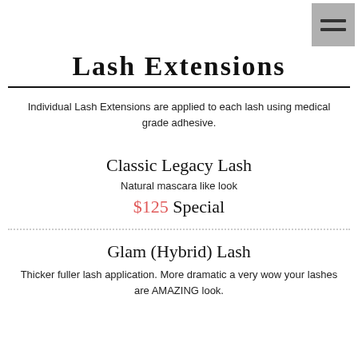[Figure (other): Hamburger menu button icon with three horizontal bars on gray background]
Lash Extensions
Individual Lash Extensions are applied to each lash using medical grade adhesive.
Classic Legacy Lash
Natural mascara like look
$125 Special
Glam (Hybrid) Lash
Thicker fuller lash application. More dramatic a very wow your lashes are AMAZING look.